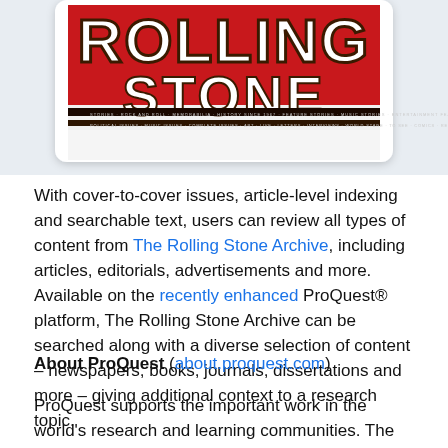[Figure (photo): Partial view of a Rolling Stone magazine cover with red and black masthead logo visible at top]
With cover-to-cover issues, article-level indexing and searchable text, users can review all types of content from The Rolling Stone Archive, including articles, editorials, advertisements and more. Available on the recently enhanced ProQuest® platform, The Rolling Stone Archive can be searched along with a diverse selection of content – newspapers, books, journals, dissertations and more – giving additional context to a research topic.
About ProQuest (about.proquest.com)
ProQuest supports the important work in the world's research and learning communities. The company curates six centuries of content – the world's largest collection of journals, ebooks, primary sources, dissertations, news, and